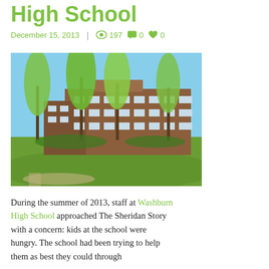High School
December 15, 2013  |  197  0  0
[Figure (photo): Exterior photo of Washburn High School building, brick facade with trees in foreground, spring foliage, green lawn, blue sky]
During the summer of 2013, staff at Washburn High School approached The Sheridan Story with a concern: kids at the school were hungry. The school had been trying to help them as best they could through